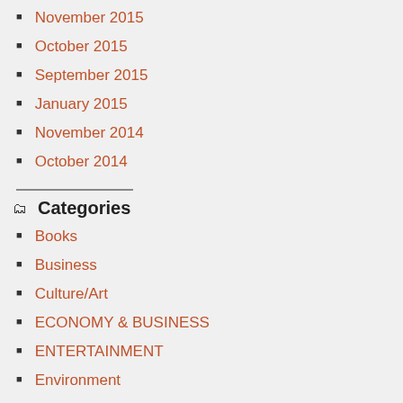November 2015
October 2015
September 2015
January 2015
November 2014
October 2014
Categories
Books
Business
Culture/Art
ECONOMY & BUSINESS
ENTERTAINMENT
Environment
Food/ Drink
Food/Drink